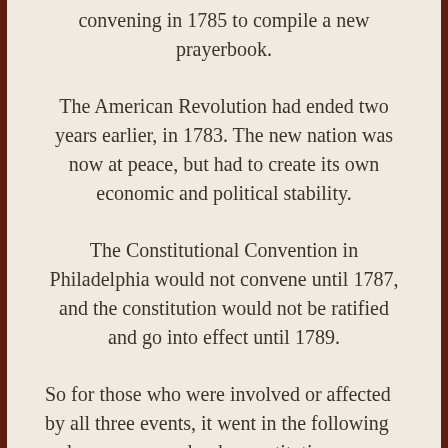convening in 1785 to compile a new prayerbook.
The American Revolution had ended two years earlier, in 1783. The new nation was now at peace, but had to create its own economic and political stability.
The Constitutional Convention in Philadelphia would not convene until 1787, and the constitution would not be ratified and go into effect until 1789.
So for those who were involved or affected by all three events, it went in the following order: war, prayerbook, constitution. Interesting